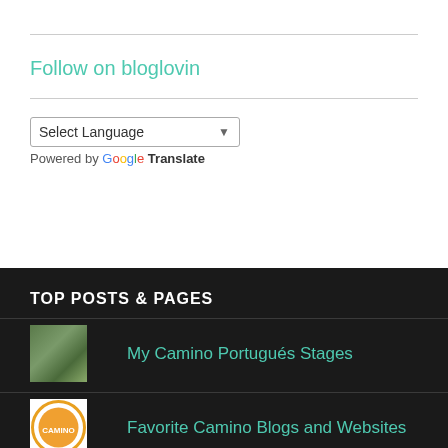Follow on bloglovin
Select Language — Powered by Google Translate
TOP POSTS & PAGES
My Camino Portugués Stages
Favorite Camino Blogs and Websites